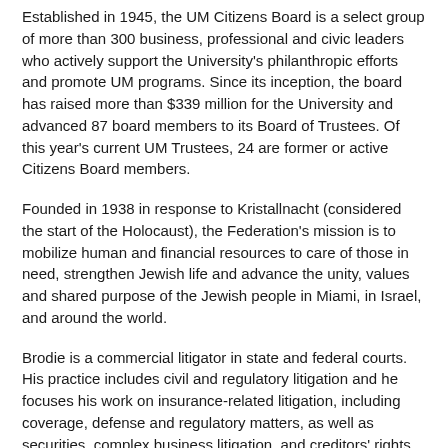Established in 1945, the UM Citizens Board is a select group of more than 300 business, professional and civic leaders who actively support the University's philanthropic efforts and promote UM programs. Since its inception, the board has raised more than $339 million for the University and advanced 87 board members to its Board of Trustees. Of this year's current UM Trustees, 24 are former or active Citizens Board members.
Founded in 1938 in response to Kristallnacht (considered the start of the Holocaust), the Federation's mission is to mobilize human and financial resources to care of those in need, strengthen Jewish life and advance the unity, values and shared purpose of the Jewish people in Miami, in Israel, and around the world.
Brodie is a commercial litigator in state and federal courts. His practice includes civil and regulatory litigation and he focuses his work on insurance-related litigation, including coverage, defense and regulatory matters, as well as securities, complex business litigation, and creditors' rights. He is a graduate of Leadership Miami, is a member of the United Way of Dade County Board of Directors, and is a member of the University of Miami Board of Trustees.